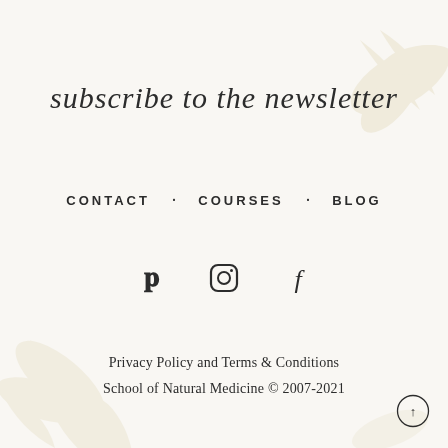subscribe to the newsletter
CONTACT · COURSES · BLOG
[Figure (other): Social media icons: Pinterest (P), Instagram (camera), Facebook (f)]
Privacy Policy and Terms & Conditions
School of Natural Medicine © 2007-2021